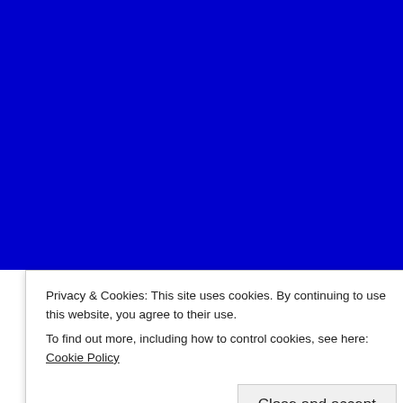[Figure (bar-chart): A horizontal bar chart on a blue background showing various music artists and their listener counts. The bars are white on a blue background, with artist names on the left and values on the right.]
Privacy & Cookies: This site uses cookies. By continuing to use this website, you agree to their use.
To find out more, including how to control cookies, see here: Cookie Policy
Close and accept